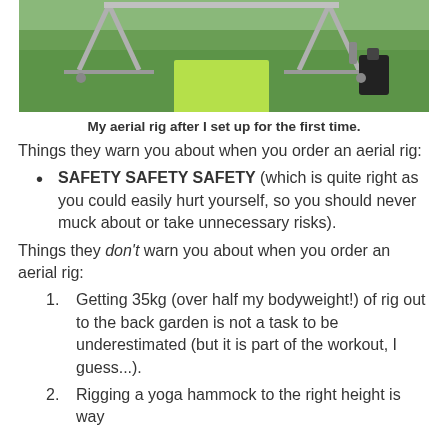[Figure (photo): An aerial rig set up on a green grass lawn outdoors, with metal frame legs spread out, a green yoga mat/hammock visible in the center, and a black bag on the right side.]
My aerial rig after I set up for the first time.
Things they warn you about when you order an aerial rig:
SAFETY SAFETY SAFETY (which is quite right as you could easily hurt yourself, so you should never muck about or take unnecessary risks).
Things they don't warn you about when you order an aerial rig:
Getting 35kg (over half my bodyweight!) of rig out to the back garden is not a task to be underestimated (but it is part of the workout, I guess...).
Rigging a yoga hammock to the right height is way